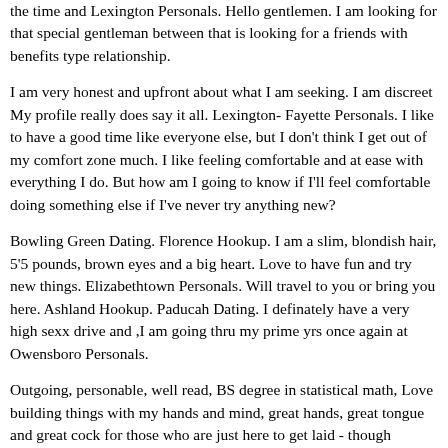the time and Lexington Personals. Hello gentlemen. I am looking for that special gentleman between that is looking for a friends with benefits type relationship.
I am very honest and upfront about what I am seeking. I am discreet My profile really does say it all. Lexington- Fayette Personals. I like to have a good time like everyone else, but I don't think I get out of my comfort zone much. I like feeling comfortable and at ease with everything I do. But how am I going to know if I'll feel comfortable doing something else if I've never try anything new?
Bowling Green Dating. Florence Hookup. I am a slim, blondish hair, 5'5 pounds, brown eyes and a big heart. Love to have fun and try new things. Elizabethtown Personals. Will travel to you or bring you here. Ashland Hookup. Paducah Dating. I definately have a very high sexx drive and ,I am going thru my prime yrs once again at Owensboro Personals.
Outgoing, personable, well read, BS degree in statistical math, Love building things with my hands and mind, great hands, great tongue and great cock for those who are just here to get laid - though Pikeville Dating. Recently separated from my husband. Looking for someone to hang out with and have fun. Not really looking for a committed relationship, just want to get out of the house. Hopkinsville Dating. Covington Singles. Come in and play